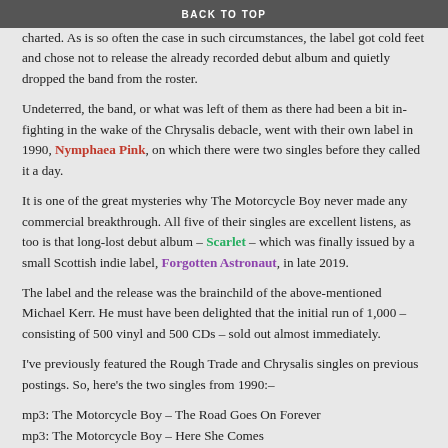BACK TO TOP
charted.  As is so often the case in such circumstances, the label got cold feet and chose not to release the already recorded debut album and quietly dropped the band from the roster.
Undeterred, the band, or what was left of them as there had been a bit in-fighting in the wake of the Chrysalis debacle, went with their own label in 1990, Nymphaea Pink, on which there were two singles before they called it a day.
It is one of the great mysteries why The Motorcycle Boy never made any commercial breakthrough.  All five of their singles are excellent listens, as too is that long-lost debut album – Scarlet – which was finally issued by a small Scottish indie label, Forgotten Astronaut, in late 2019.
The label and the release was the brainchild of the above-mentioned Michael Kerr.  He must have been delighted that the initial run of 1,000 – consisting of 500 vinyl and 500 CDs – sold out almost immediately.
I've previously featured the Rough Trade and Chrysalis singles on previous postings.  So, here's the two singles from 1990:–
mp3: The Motorcycle Boy – The Road Goes On Forever
mp3: The Motorcycle Boy – Here She Comes
JC
SHARE THIS: